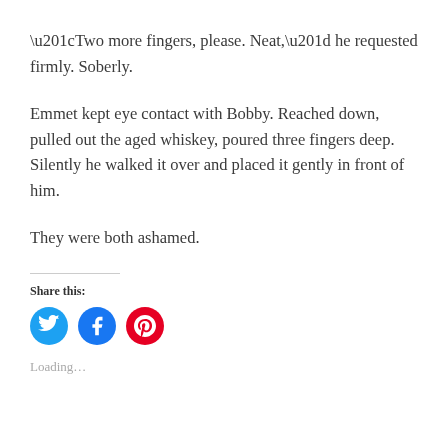“Two more fingers, please. Neat,” he requested firmly. Soberly.
Emmet kept eye contact with Bobby. Reached down, pulled out the aged whiskey, poured three fingers deep. Silently he walked it over and placed it gently in front of him.
They were both ashamed.
Share this:
[Figure (infographic): Three social media share buttons: Twitter (blue bird icon), Facebook (blue f icon), Pinterest (red P icon)]
Loading...